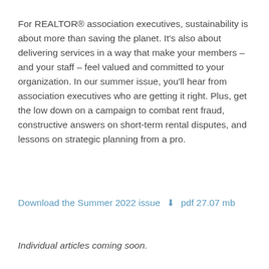For REALTOR® association executives, sustainability is about more than saving the planet. It's also about delivering services in a way that make your members – and your staff – feel valued and committed to your organization. In our summer issue, you'll hear from association executives who are getting it right. Plus, get the low down on a campaign to combat rent fraud, constructive answers on short-term rental disputes, and lessons on strategic planning from a pro.
Download the Summer 2022 issue ⬇ pdf 27.07 mb
Individual articles coming soon.